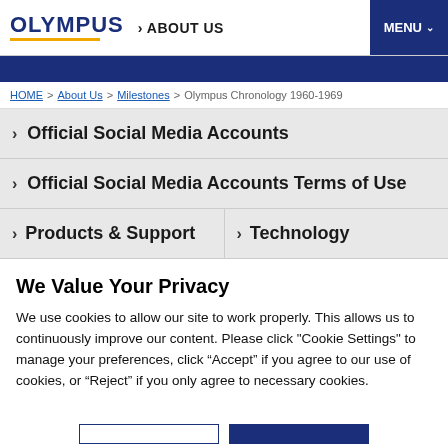OLYMPUS  > ABOUT US  MENU
HOME > About Us > Milestones > Olympus Chronology 1960-1969
> Official Social Media Accounts
> Official Social Media Accounts Terms of Use
> Products & Support   > Technology
We Value Your Privacy
We use cookies to allow our site to work properly. This allows us to continuously improve our content. Please click "Cookie Settings" to manage your preferences, click “Accept” if you agree to our use of cookies, or “Reject” if you only agree to necessary cookies.